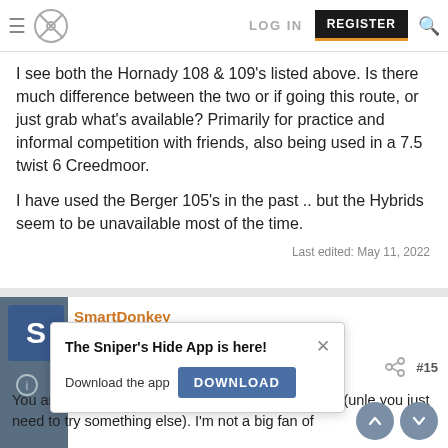Navigation bar with logo, LOG IN, REGISTER, search icon
I see both the Hornady 108 & 109's listed above. Is there much difference between the two or if going this route, or just grab what's available? Primarily for practice and informal competition with friends, also being used in a 7.5 twist 6 Creedmoor.
I have used the Berger 105's in the past .. but the Hybrids seem to be unavailable most of the time.
Last edited: May 11, 2022
SmartDonkey
Sergeant of the Hide  Full Member  Minuteman
[Figure (screenshot): App download popup: 'The Sniper's Hide App is here!' with DOWNLOAD button and close X]
You are already good to go with the bullets you ha... (unle you just need to try something else). I'm not a big fan of